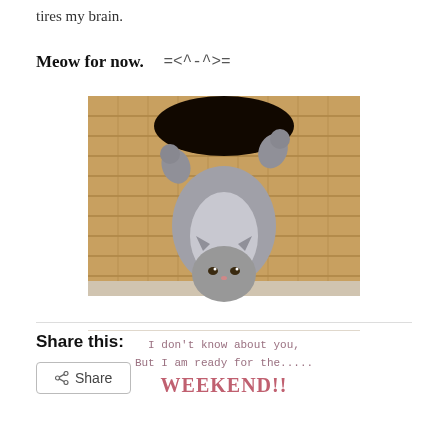tires my brain.
Meow for now.   =<^-^>=
[Figure (photo): A kitten lying upside-down inside a wicker basket, with text below reading: 'I don't know about you, But I am ready for the..... WEEKEND!!']
Share this:
Share